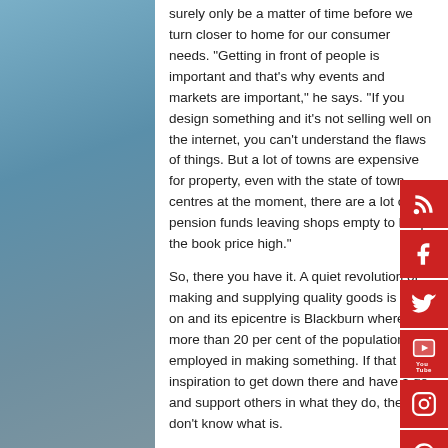surely only be a matter of time before we turn closer to home for our consumer needs. "Getting in front of people is important and that's why events and markets are important," he says. "If you design something and it's not selling well on the internet, you can't understand the flaws of things. But a lot of towns are expensive for property, even with the state of town centres at the moment, there are a lot of pension funds leaving shops empty to keep the book price high."
So, there you have it. A quiet revolution of making and supplying quality goods is going on and its epicentre is Blackburn where more than 20 per cent of the population is employed in making something. If that isn't inspiration to get down there and have a go and support others in what they do, then I don't know what is.
By Chris Park